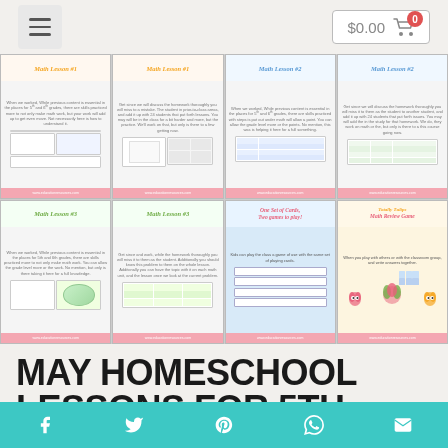$0.00 cart
[Figure (screenshot): 2x4 grid of Math Lesson worksheet covers: Math Lesson #1 (x2), Math Lesson #2 (x2), Math Lesson #3 (x2), One Set of Cards Two Games to Play, Totally Tulips Math Review Game]
MAY HOMESCHOOL LESSONS FOR 5TH GRADE AND 6TH GRADE MATH
Social share bar: Facebook, Twitter, Pinterest, WhatsApp, Email